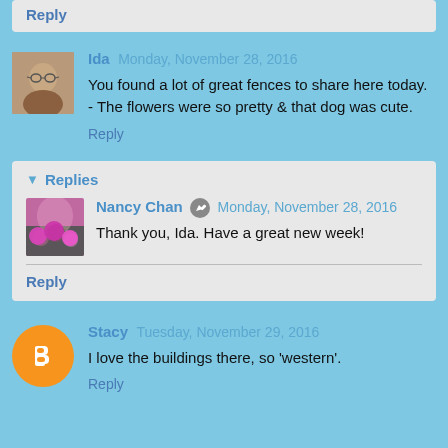Reply
Ida Monday, November 28, 2016
You found a lot of great fences to share here today. - The flowers were so pretty & that dog was cute.
Reply
Replies
Nancy Chan Monday, November 28, 2016
Thank you, Ida. Have a great new week!
Reply
Stacy Tuesday, November 29, 2016
I love the buildings there, so 'western'.
Reply